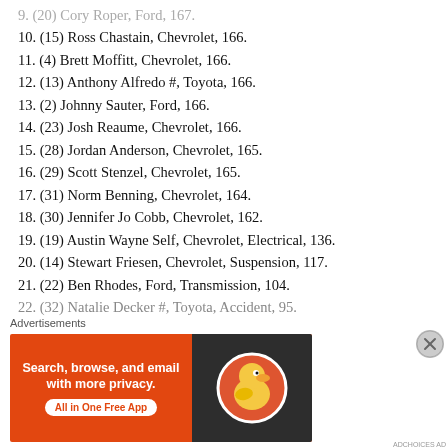9. (20)  Cory Roper, Ford, 167.
10. (15)  Ross Chastain, Chevrolet, 166.
11. (4)  Brett Moffitt, Chevrolet, 166.
12. (13)  Anthony Alfredo #, Toyota, 166.
13. (2)  Johnny Sauter, Ford, 166.
14. (23)  Josh Reaume, Chevrolet, 166.
15. (28)  Jordan Anderson, Chevrolet, 165.
16. (29)  Scott Stenzel, Chevrolet, 165.
17. (31)  Norm Benning, Chevrolet, 164.
18. (30)  Jennifer Jo Cobb, Chevrolet, 162.
19. (19)  Austin Wayne Self, Chevrolet, Electrical, 136.
20. (14)  Stewart Friesen, Chevrolet, Suspension, 117.
21. (22)  Ben Rhodes, Ford, Transmission, 104.
22. (32)  Natalie Decker #, Toyota, Accident, 95.
Advertisements
[Figure (other): DuckDuckGo advertisement banner: orange background with text 'Search, browse, and email with more privacy.' and 'All in One Free App', with DuckDuckGo logo on dark background]